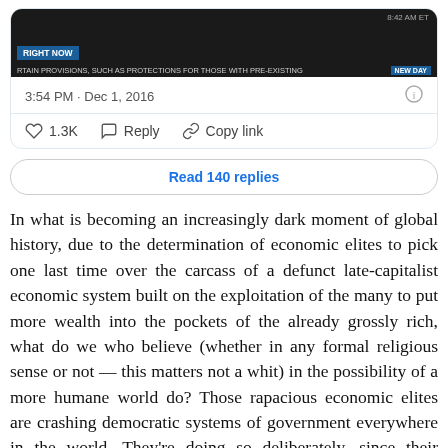[Figure (screenshot): A screenshot of a CNN broadcast showing ticker text: 'RTAIN PROVISIONS, SUCH AS PROTECTIONS FOR THOSE WITH PRE-EXISTING' and 'NEW DAY' branding, with timestamp 8:42 AM ET and 'RIGHT NOW' banner]
3:54 PM · Dec 1, 2016
1.3K   Reply   Copy link
Read 140 replies
In what is becoming an increasingly dark moment of global history, due to the determination of economic elites to pick one last time over the carcass of a defunct late-capitalist economic system built on the exploitation of the many to put more wealth into the pockets of the already grossly rich, what do we who believe (whether in any formal religious sense or not — this matters not a whit) in the possibility of a more humane world do? Those rapacious economic elites are crashing democratic systems of government everywhere in the world. They're doing so deliberately, since their rapacious picking over the carcass of late-capitalism — which is to say, over the carcasses of all of us — depends on their having total control of the mechanisms of national and